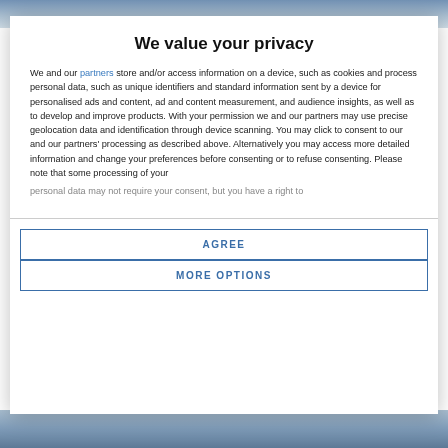We value your privacy
We and our partners store and/or access information on a device, such as cookies and process personal data, such as unique identifiers and standard information sent by a device for personalised ads and content, ad and content measurement, and audience insights, as well as to develop and improve products. With your permission we and our partners may use precise geolocation data and identification through device scanning. You may click to consent to our and our partners' processing as described above. Alternatively you may access more detailed information and change your preferences before consenting or to refuse consenting. Please note that some processing of your personal data may not require your consent, but you have a right to